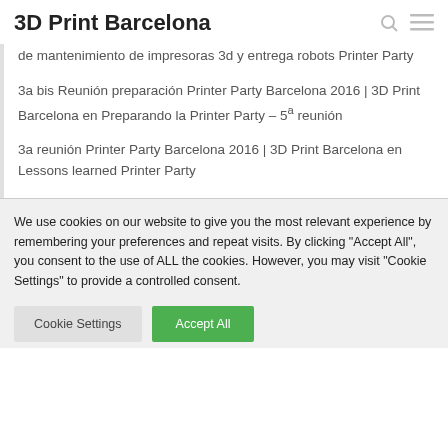3D Print Barcelona
de mantenimiento de impresoras 3d y entrega robots Printer Party
3a bis Reunión preparación Printer Party Barcelona 2016 | 3D Print Barcelona en Preparando la Printer Party – 5ª reunión
3a reunión Printer Party Barcelona 2016 | 3D Print Barcelona en Lessons learned Printer Party
We use cookies on our website to give you the most relevant experience by remembering your preferences and repeat visits. By clicking "Accept All", you consent to the use of ALL the cookies. However, you may visit "Cookie Settings" to provide a controlled consent.
Cookie Settings  Accept All